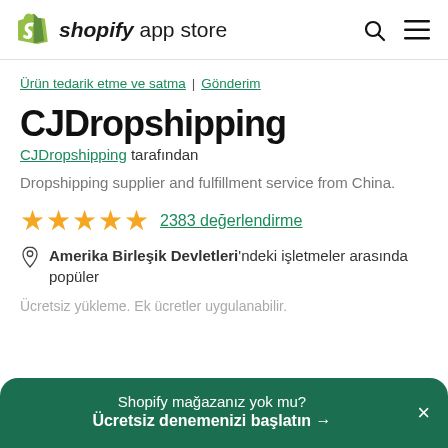[Figure (logo): Shopify App Store logo with green bag icon]
Ürün tedarik etme ve satma | Gönderim
CJDropshipping
CJDropshipping tarafından
Dropshipping supplier and fulfillment service from China.
★★★★★ 2383 değerlendirme
Amerika Birleşik Devletleri'ndeki işletmeler arasında popüler
Ücretsiz yükleme. Ek ücretler uygulanabilir.
Shopify mağazanız yok mu? Ücretsiz denemenizi başlatın →